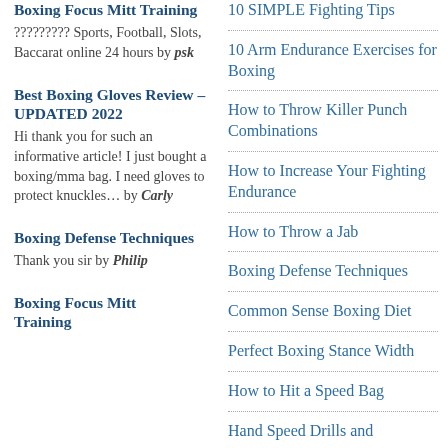Boxing Focus Mitt Training — ????????? Sports, Football, Slots, Baccarat online 24 hours by psk
Best Boxing Gloves Review – UPDATED 2022 — Hi thank you for such an informative article! I just bought a boxing/mma bag. I need gloves to protect knuckles... by Carly
Boxing Defense Techniques — Thank you sir by Philip
Boxing Focus Mitt Training
10 Arm Endurance Exercises for Boxing
How to Throw Killer Punch Combinations
How to Increase Your Fighting Endurance
How to Throw a Jab
Boxing Defense Techniques
Common Sense Boxing Diet
Perfect Boxing Stance Width
How to Hit a Speed Bag
Hand Speed Drills and